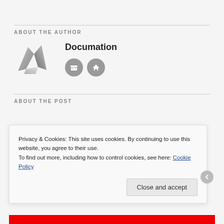ABOUT THE AUTHOR
[Figure (logo): Documation logo — a silver/grey stylized triangular arrow shape]
Documation
ABOUT THE POST
Privacy & Cookies: This site uses cookies. By continuing to use this website, you agree to their use.
To find out more, including how to control cookies, see here: Cookie Policy
Close and accept